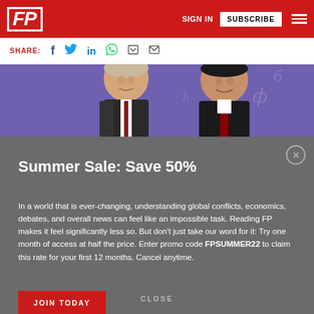FP | SIGN IN | SUBSCRIBE
SHARE:
[Figure (photo): Photo of two world leaders, Putin and Xi Jinping, standing together against a purple background with decorative symbols]
Summer Sale: Save 50%
In a world that is ever-changing, understanding global conflicts, economics, debates, and overall news can feel like an impossible task. Reading FP makes it feel significantly less so. But don't just take our word for it: Try one month of access at half the price. Enter promo code FPSUMMER22 to claim this rate for your first 12 months. Cancel anytime.
JOIN TODAY
CLOSE